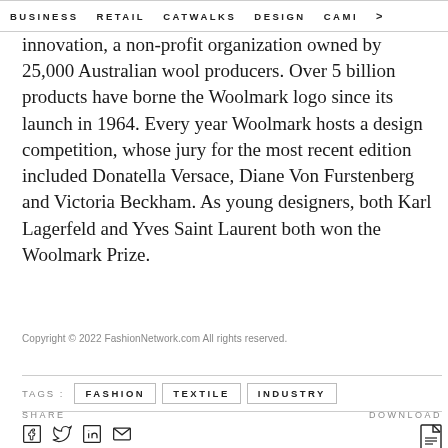BUSINESS   RETAIL   CATWALKS   DESIGN   CAMI  >
innovation, a non-profit organization owned by 25,000 Australian wool producers. Over 5 billion products have borne the Woolmark logo since its launch in 1964. Every year Woolmark hosts a design competition, whose jury for the most recent edition included Donatella Versace, Diane Von Furstenberg and Victoria Beckham. As young designers, both Karl Lagerfeld and Yves Saint Laurent both won the Woolmark Prize.
Copyright © 2022 FashionNetwork.com All rights reserved.
TAGS :  FASHION  TEXTILE  INDUSTRY
SHARE   DOWNLOAD